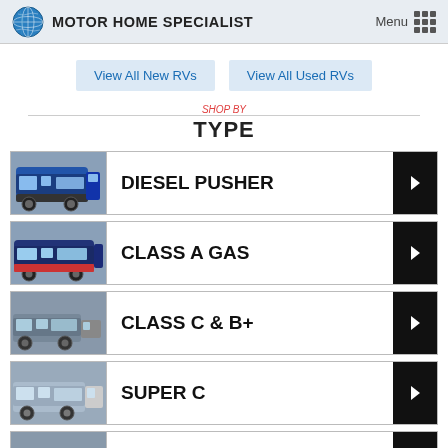MOTOR HOME SPECIALIST
View All New RVs
View All Used RVs
SHOP BY TYPE
DIESEL PUSHER
CLASS A GAS
CLASS C & B+
SUPER C
SPRINTERS